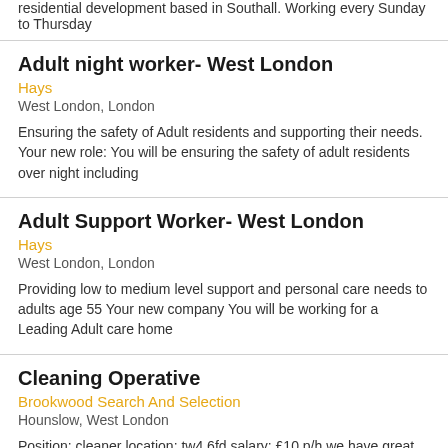residential development based in Southall. Working every Sunday to Thursday
Adult night worker- West London
Hays
West London, London
Ensuring the safety of Adult residents and supporting their needs. Your new role: You will be ensuring the safety of adult residents over night including
Adult Support Worker- West London
Hays
West London, London
Providing low to medium level support and personal care needs to adults age 55 Your new company You will be working for a Leading Adult care home
Cleaning Operative
Brookwood Search And Selection
Hounslow, West London
Position: cleaner location: tw4 6fd salary: £10 p/h we have great opportunities, working in a growing industry where you will always be in demand we are
Cleaning Supervisor
Bardwood Support Services
Hounslow, West London